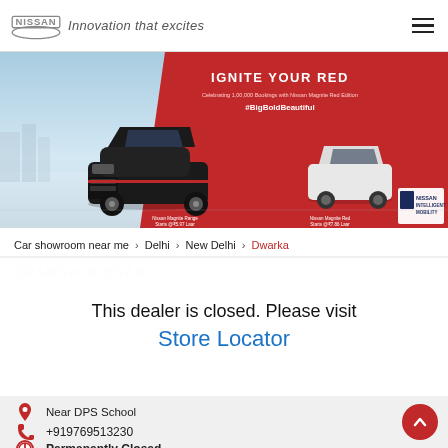NISSAN — Innovation that excites
[Figure (photo): Nissan Magnite car advertisement banner — IGNITE YOUR RED, #BigBoldBautiful, showing black and white Nissan Magnite cars]
Car showroom near me > Delhi > New Delhi > Dwarka
SPARSH NISSAN
This dealer is closed. Please visit Store Locator
Near DPS School
+919769513230
Permanently Closed
Get Directions